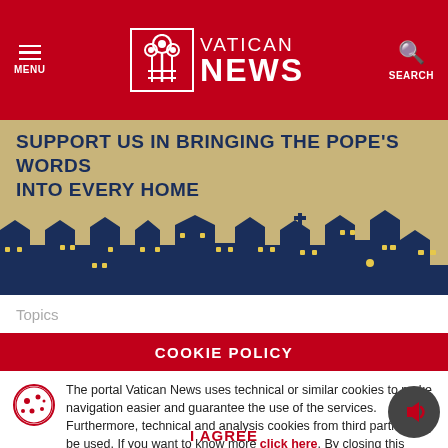[Figure (logo): Vatican News logo with papal keys emblem, white text on red background, MENU button left, SEARCH button right]
[Figure (illustration): Banner with tan/kraft background showing stylized dark blue city skyline with houses and church, yellow windows]
SUPPORT US IN BRINGING THE POPE'S WORDS INTO EVERY HOME
Topics
COOKIE POLICY
The portal Vatican News uses technical or similar cookies to make navigation easier and guarantee the use of the services. Furthermore, technical and analysis cookies from third parties may be used. If you want to know more click here. By closing this banner you consent to the use of cookies.
I AGREE